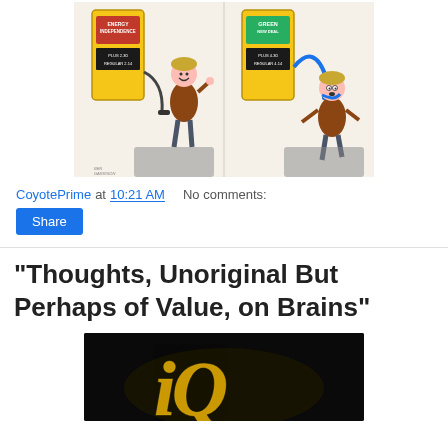[Figure (illustration): A two-panel political cartoon by Ben Garrison showing a man happily pumping gas labeled 'Energy Independence' with prices Plus 2.30 / Regular 2.14 on the left, and the same man being strangled by a gas pump hose labeled 'Green New Deal' with prices Plus 4.30 / Regular 4.14 on the right.]
CoyotePrime at 10:21 AM   No comments:
Share
"Thoughts, Unoriginal But Perhaps of Value, on Brains"
[Figure (photo): Dark background image showing large yellow stylized 'IQ' text letters.]